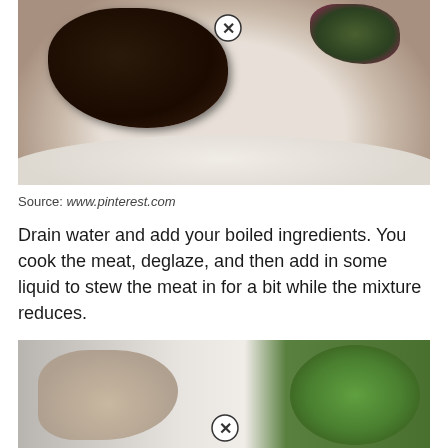[Figure (photo): A close-up photo of a cooked meat piece on a white plate with greens/vegetables, viewed from above. A close button (X in circle) overlays the image.]
Source: www.pinterest.com
Drain water and add your boiled ingredients. You cook the meat, deglaze, and then add in some liquid to stew the meat in for a bit while the mixture reduces.
[Figure (photo): A photo showing hands near a white bowl/plate of green salad leaves. A close button (X in circle) overlays the image.]